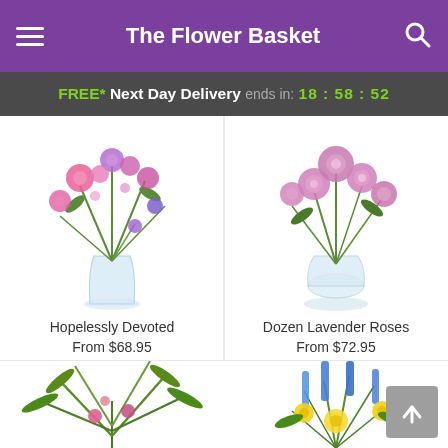The Flower Basket
FREE* Next Day Delivery ends in: 18 : 58 : 52
[Figure (photo): Hopelessly Devoted floral arrangement — pink, purple and lavender flowers in a glass vase]
Hopelessly Devoted
From $68.95
[Figure (photo): Dozen Lavender Roses arrangement — pink/lavender roses with white filler flowers in a glass vase]
Dozen Lavender Roses
From $72.95
[Figure (photo): Tropical green plant arrangement with pink flowers]
[Figure (photo): Blue and yellow floral arrangement with tall blue delphiniums and yellow sunflowers]